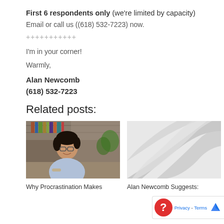First 6 respondents only (we're limited by capacity)
Email or call us ((618) 532-7223) now.
+++++++++++
I'm in your corner!
Warmly,
Alan Newcomb
(618) 532-7223
Related posts:
[Figure (photo): A smiling man wearing glasses and a light blue shirt, sitting at a desk looking at something off-frame, with bookshelves in the background.]
Why Procrastination Makes
[Figure (illustration): Abstract swirl/wave design in light gray tones.]
Alan Newcomb Suggests: